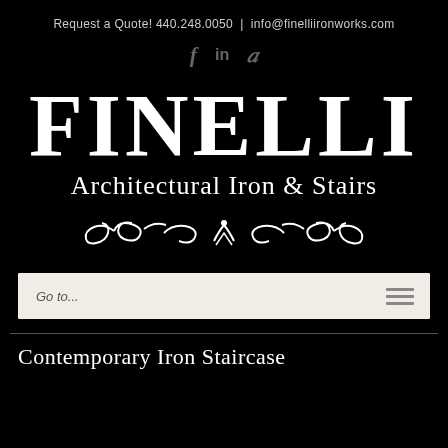Request a Quote! 440.248.0050 | info@finelliironworks.com
[Figure (logo): Social media icons: Facebook (f), LinkedIn (in), Pinterest (p)]
FINELLI Architectural Iron & Stairs
[Figure (illustration): Decorative ornamental flourish divider]
Go to...
Contemporary Iron Staircase